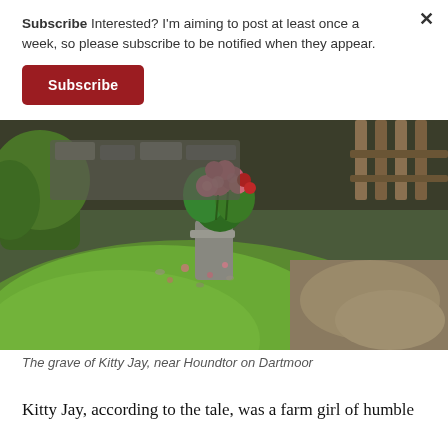Subscribe Interested? I'm aiming to post at least once a week, so please subscribe to be notified when they appear.
Subscribe
[Figure (photo): A grass mound grave with a bouquet of pink roses placed on a small stone marker at a crossroads on Dartmoor. Background shows green vegetation, a stone wall, and a dirt path.]
The grave of Kitty Jay, near Houndtor on Dartmoor
Kitty Jay, according to the tale, was a farm girl of humble